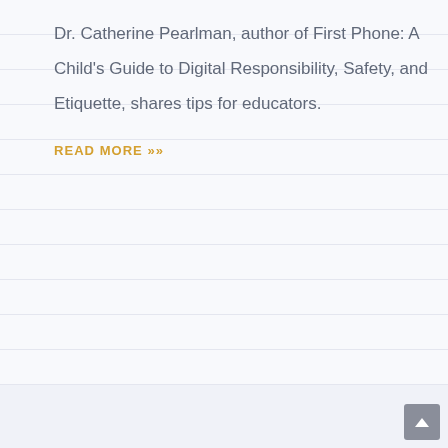Dr. Catherine Pearlman, author of First Phone: A Child's Guide to Digital Responsibility, Safety, and Etiquette, shares tips for educators.
READ MORE »»